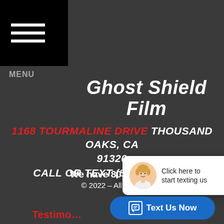[Figure (other): Black hamburger menu icon with three white horizontal lines on black background]
MENU
Ghost Shield Film
1168 TOURMALINE DRIVE THOUSAND OAKS, CA 91320
CALL OR TEXT (805) 402-8298
We have 80 5-star...
© 2022 – All Rig...
[Figure (other): Chat popup widget with avatar photo of blonde woman and text: Click here to start texting us]
[Figure (other): Blue rounded button with chat icon and text: Text Us Now]
Testimo...